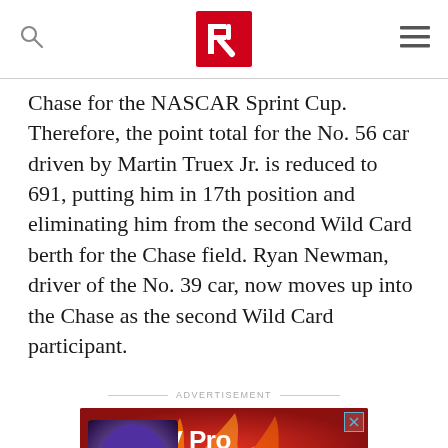RACER
Chase for the NASCAR Sprint Cup. Therefore, the point total for the No. 56 car driven by Martin Truex Jr. is reduced to 691, putting him in 17th position and eliminating him from the second Wild Card berth for the Chase field. Ryan Newman, driver of the No. 39 car, now moves up into the Chase as the second Wild Card participant.
ADVERTISEMENT
[Figure (photo): F1 TV Pro advertisement banner with racing imagery showing Formula 1 cars and a driver in helmet, red background with flames]